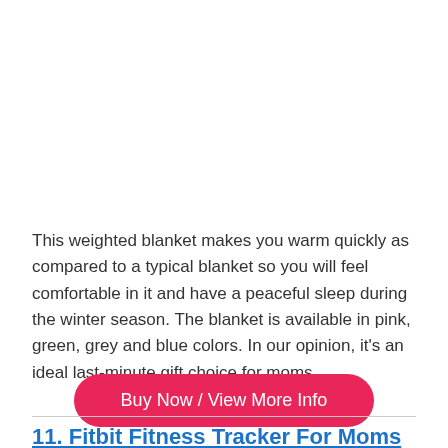This weighted blanket makes you warm quickly as compared to a typical blanket so you will feel comfortable in it and have a peaceful sleep during the winter season. The blanket is available in pink, green, grey and blue colors. In our opinion, it's an ideal last-minute gift choice for moms.
[Figure (other): Button: Buy Now / View More Info (pink rounded rectangle)]
11. Fitbit Fitness Tracker For Moms